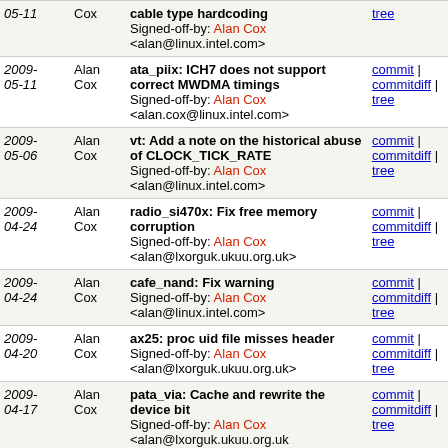| Date | Author | Message | Links |
| --- | --- | --- | --- |
| 2009-05-11 | Alan Cox | cable type hardcoding
Signed-off-by: Alan Cox <alan@linux.intel.com> | commit | commitdiff | tree |
| 2009-05-11 | Alan Cox | ata_piix: ICH7 does not support correct MWDMA timings
Signed-off-by: Alan Cox <alan.cox@linux.intel.com> | commit | commitdiff | tree |
| 2009-05-06 | Alan Cox | vt: Add a note on the historical abuse of CLOCK_TICK_RATE
Signed-off-by: Alan Cox <alan@linux.intel.com> | commit | commitdiff | tree |
| 2009-04-24 | Alan Cox | radio_si470x: Fix free memory corruption
Signed-off-by: Alan Cox <alan@lxorguk.ukuu.org.uk> | commit | commitdiff | tree |
| 2009-04-24 | Alan Cox | cafe_nand: Fix warning
Signed-off-by: Alan Cox <alan@linux.intel.com> | commit | commitdiff | tree |
| 2009-04-20 | Alan Cox | ax25: proc uid file misses header
Signed-off-by: Alan Cox <alan@lxorguk.ukuu.org.uk> | commit | commitdiff | tree |
| 2009-04-17 | Alan Cox | pata_via: Cache and rewrite the device bit
Signed-off-by: Alan Cox <alan@lxorguk.ukuu.org.uk | commit | commitdiff | tree |
| 2009-04-17 | Alan Cox | Staging: aten2011: Clean up some tty bits
Signed-off-by: Alan Cox <alan@lxorguk.ukuu.org.uk> | commit | commitdiff | tree |